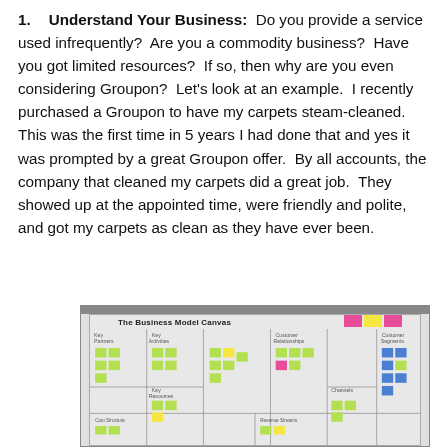1.  Understand Your Business: Do you provide a service used infrequently? Are you a commodity business? Have you got limited resources? If so, then why are you even considering Groupon? Let's look at an example. I recently purchased a Groupon to have my carpets steam-cleaned. This was the first time in 5 years I had done that and yes it was prompted by a great Groupon offer. By all accounts, the company that cleaned my carpets did a great job. They showed up at the appointed time, were friendly and polite, and got my carpets as clean as they have ever been.
[Figure (photo): A photograph of a whiteboard showing The Business Model Canvas with many colorful sticky notes (green, yellow, blue, pink) arranged in various sections of the canvas framework.]